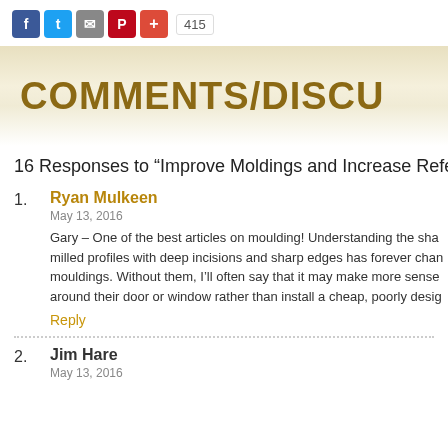[Figure (other): Social media sharing buttons: Facebook, Twitter, Email, Pinterest, Plus, and share count 415]
[Figure (other): Banner with text COMMENTS/DISCU (truncated) on a tan/cream gradient background]
16 Responses to “Improve Moldings and Increase Referra
1. Ryan Mulkeen
May 13, 2016
Gary – One of the best articles on moulding! Understanding the sha milled profiles with deep incisions and sharp edges has forever chan mouldings. Without them, I’ll often say that it may make more sense around their door or window rather than install a cheap, poorly desig
Reply
2. Jim Hare
May 13, 2016